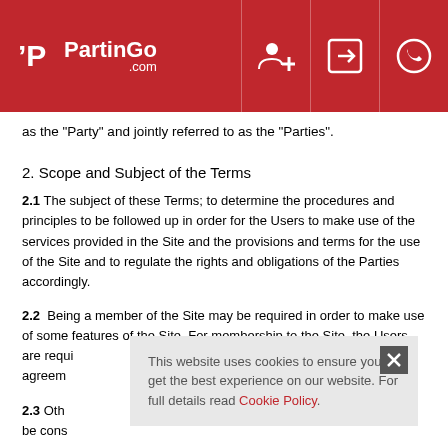PartinGo.com
as the "Party" and jointly referred to as the "Parties".
2. Scope and Subject of the Terms
2.1 The subject of these Terms; to determine the procedures and principles to be followed up in order for the Users to make use of the services provided in the Site and the provisions and terms for the use of the Site and to regulate the rights and obligations of the Parties accordingly.
2.2 Being a member of the Site may be required in order to make use of some features of the Site. For membership to the Site, the Users are required to read the membership agreement...
2.3 Oth... also be cons...
This website uses cookies to ensure you get the best experience on our website. For full details read Cookie Policy.